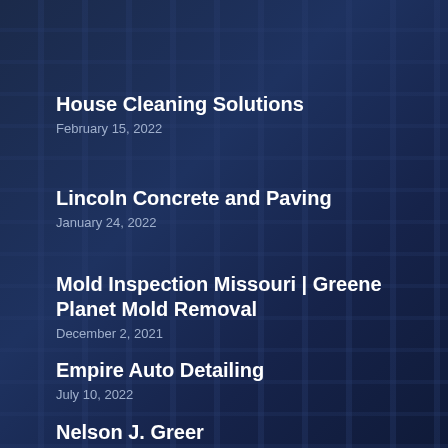House Cleaning Solutions
February 15, 2022
Lincoln Concrete and Paving
January 24, 2022
Mold Inspection Missouri | Greene Planet Mold Removal
December 2, 2021
Empire Auto Detailing
July 10, 2022
Nelson J. Greer
June 13, 2022